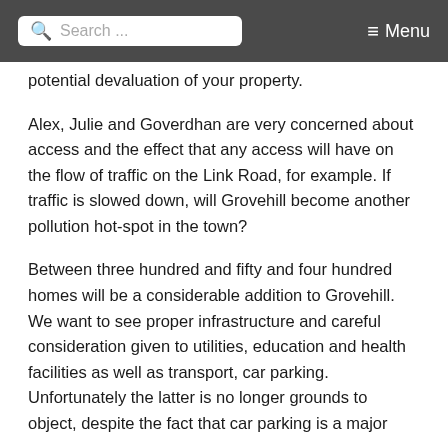Search ... ☰ Menu
potential devaluation of your property.
Alex, Julie and Goverdhan are very concerned about access and the effect that any access will have on the flow of traffic on the Link Road, for example. If traffic is slowed down, will Grovehill become another pollution hot-spot in the town?
Between three hundred and fifty and four hundred homes will be a considerable addition to Grovehill. We want to see proper infrastructure and careful consideration given to utilities, education and health facilities as well as transport, car parking. Unfortunately the latter is no longer grounds to object, despite the fact that car parking is a major